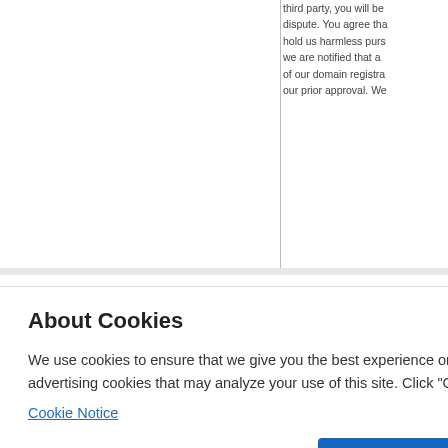third party, you will be... dispute. You agree that... hold us harmless purs... we are notified that a... of our domain registra... our prior approval. We...
ted t... notific... strati... ect t... may... party...
OF R... canc... stabi... ques... civi... cers,... reso...
k to n...
ents
About Cookies
We use cookies to ensure that we give you the best experience on our website. This includes cookies from third party social media websites and advertising cookies that may analyze your use of this site. Click "Got it" to agree or "Cookie Settings" to opt out.
Cookie Notice
Got It
Cookies Settings